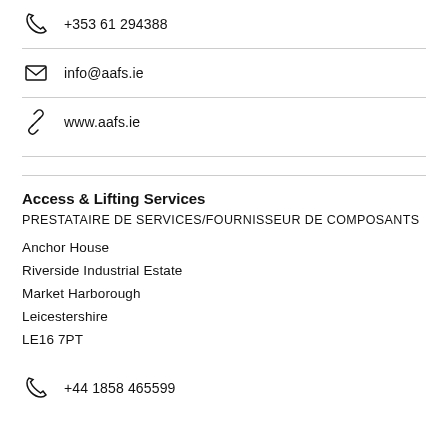+353 61 294388
info@aafs.ie
www.aafs.ie
Access & Lifting Services
PRESTATAIRE DE SERVICES/FOURNISSEUR DE COMPOSANTS
Anchor House
Riverside Industrial Estate
Market Harborough
Leicestershire
LE16 7PT
+44 1858 465599